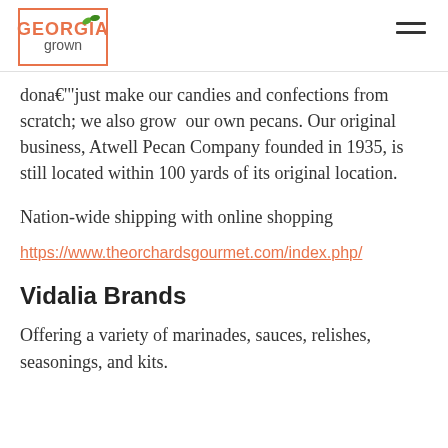Georgia Grown — navigation header
dona€’’(just make our candies and confections from scratch; we also grow  our own pecans. Our original business, Atwell Pecan Company founded in 1935, is still located within 100 yards of its original location.
Nation-wide shipping with online shopping
https://www.theorchardsgourmet.com/index.php/
Vidalia Brands
Offering a variety of marinades, sauces, relishes, seasonings, and kits.